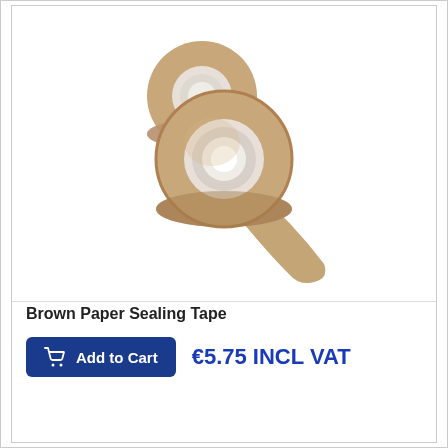[Figure (photo): Two rolls of brown paper sealing tape stacked together, with the larger roll in front showing tape unrolling, on a white background.]
Brown Paper Sealing Tape
Add to Cart  €5.75 INCL VAT